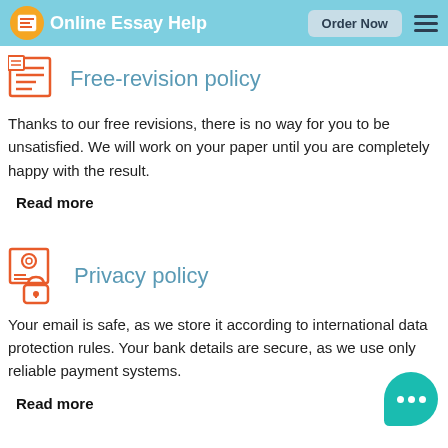Online Essay Help — Order Now
Free-revision policy
Thanks to our free revisions, there is no way for you to be unsatisfied. We will work on your paper until you are completely happy with the result.
Read more
Privacy policy
Your email is safe, as we store it according to international data protection rules. Your bank details are secure, as we use only reliable payment systems.
Read more